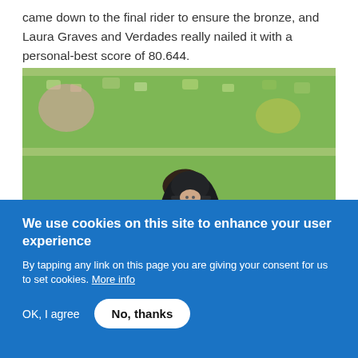came down to the final rider to ensure the bronze, and Laura Graves and Verdades really nailed it with a personal-best score of 80.644.
[Figure (photo): A dressage rider in a black formal riding jacket and helmet sitting atop a dark horse at what appears to be the Olympics, with green stadium seats visible in the background.]
We use cookies on this site to enhance your user experience
By tapping any link on this page you are giving your consent for us to set cookies. More info
OK, I agree   No, thanks